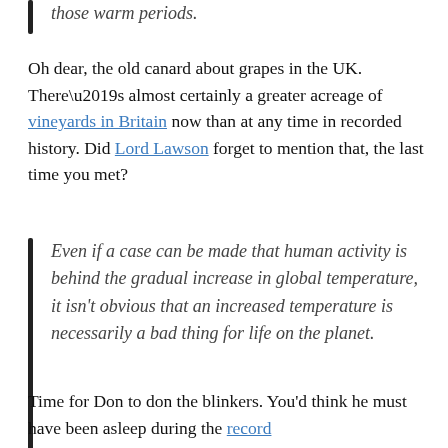those warm periods.
Oh dear, the old canard about grapes in the UK. There’s almost certainly a greater acreage of vineyards in Britain now than at any time in recorded history. Did Lord Lawson forget to mention that, the last time you met?
Even if a case can be made that human activity is behind the gradual increase in global temperature, it isn’t obvious that an increased temperature is necessarily a bad thing for life on the planet.
Time for Don to don the blinkers. You’d think he must have been asleep during the record